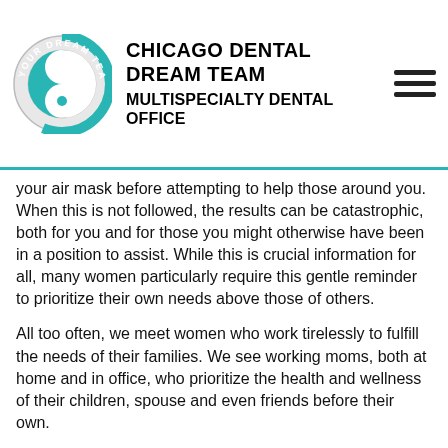CHICAGO DENTAL DREAM TEAM MULTISPECIALTY DENTAL OFFICE
your air mask before attempting to help those around you. When this is not followed, the results can be catastrophic, both for you and for those you might otherwise have been in a position to assist. While this is crucial information for all, many women particularly require this gentle reminder to prioritize their own needs above those of others.
All too often, we meet women who work tirelessly to fulfill the needs of their families. We see working moms, both at home and in office, who prioritize the health and wellness of their children, spouse and even friends before their own.
We get it: there’s joy and fulfillment in taking care of others. However, it may be time to “put on your oxygen mask” and consider whether you are remembering to care for yourself. Your health, both mental and physical, should be one of your top priorities. This will allow you to have the energy and strength you need to maintain the health of those around you.